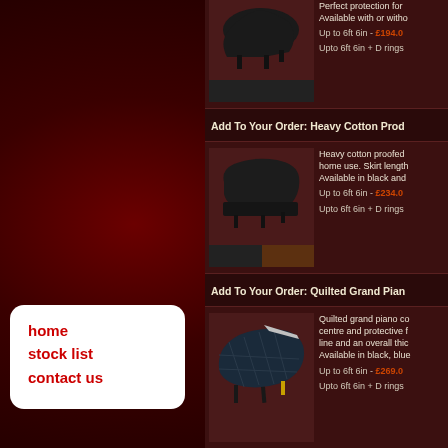home
stock list
contact us
[Figure (photo): Grand piano cover product image with black color swatch]
Perfect protection for... Available with or witho... Up to 6ft 6in - £194.0 Upto 6ft 6in + D rings
Add To Your Order: Heavy Cotton Prod...
[Figure (photo): Heavy cotton proofed grand piano cover with brown/black color swatches]
Heavy cotton proofed... home use. Skirt length... Available in black and... Up to 6ft 6in - £234.0 Upto 6ft 6in + D rings
Add To Your Order: Quilted Grand Pian...
[Figure (photo): Quilted grand piano cover in dark blue/black]
Quilted grand piano co... centre and protective f... line and an overall thic... Available in black, blue... Up to 6ft 6in - £269.0 Upto 6ft 6in + D rings
Planning a vi... Click for di...